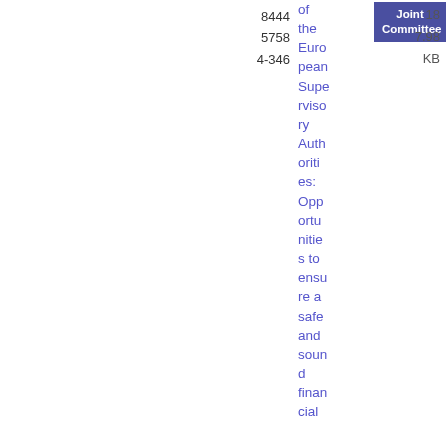8444
5758
4-346
of the European Supervisory Authorities: Opportunities to ensure a safe and sound financial cial
Joint Committee
18
7.98 KB